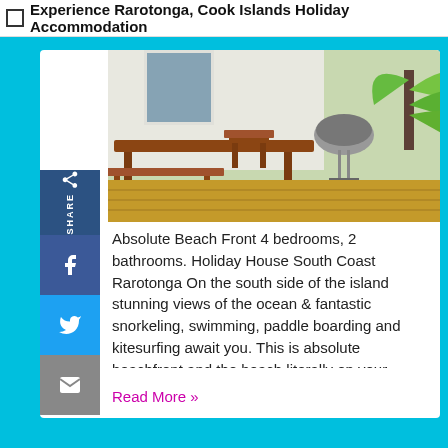Experience Rarotonga, Cook Islands Holiday Accommodation
[Figure (photo): Outdoor deck/patio area with wooden furniture including chairs and benches, a BBQ grill, and tropical green plants in sunlight]
Absolute Beach Front 4 bedrooms, 2 bathrooms. Holiday House South Coast Rarotonga On the south side of the island stunning views of the ocean & fantastic snorkeling, swimming, paddle boarding and kitesurfing await you. This is absolute beachfront and the beach literally on your doorstep. kioki is...
Read More »